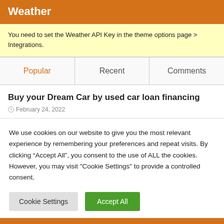Weather
You need to set the Weather API Key in the theme options page > Integrations.
Popular  Recent  Comments
Buy your Dream Car by used car loan financing
February 24, 2022
We use cookies on our website to give you the most relevant experience by remembering your preferences and repeat visits. By clicking “Accept All”, you consent to the use of ALL the cookies. However, you may visit "Cookie Settings" to provide a controlled consent.
Cookie Settings   Accept All